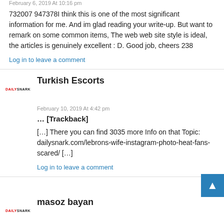February 6, 2019 At 10:16 pm
732007 947378I think this is one of the most significant information for me. And im glad reading your write-up. But want to remark on some common items, The web web site style is ideal, the articles is genuinely excellent : D. Good job, cheers 238
Log in to leave a comment
Turkish Escorts
February 10, 2019 At 4:42 pm
... [Trackback]
[…] There you can find 3035 more Info on that Topic: dailysnark.com/lebrons-wife-instagram-photo-heat-fans-scared/ […]
Log in to leave a comment
masoz bayan